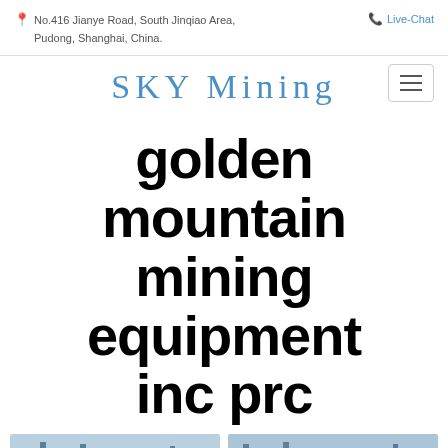No.416 Jianye Road, South Jinqiao Area, Pudong, Shanghai, China.
Live-Chat
[Figure (logo): SKY Mining logo in blue serif font]
golden mountain mining equipment inc prc
[Figure (photo): Aerial view of a mining plant facility with blue steel structures and conveyors, left image]
[Figure (photo): Aerial view of a mining plant facility with blue steel structures and conveyors, right image]